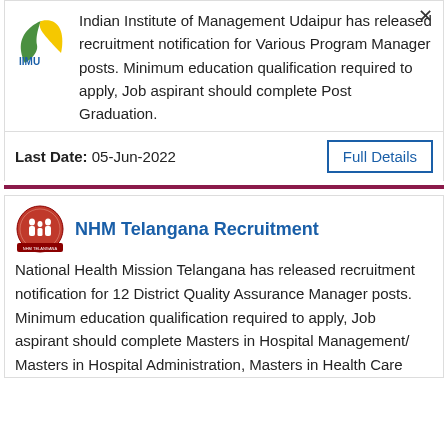Indian Institute of Management Udaipur has released recruitment notification for Various Program Manager posts. Minimum education qualification required to apply, Job aspirant should complete Post Graduation.
Last Date: 05-Jun-2022
Full Details
NHM Telangana Recruitment
National Health Mission Telangana has released recruitment notification for 12 District Quality Assurance Manager posts. Minimum education qualification required to apply, Job aspirant should complete Masters in Hospital Management/ Masters in Hospital Administration, Masters in Health Care Management.